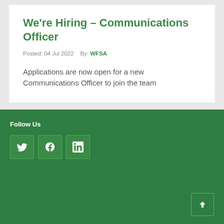We're Hiring – Communications Officer
Posted: 04 Jul 2022   By: WFSA
Applications are now open for a new Communications Officer to join the team
Follow Us
[Figure (other): Social media icons: Twitter, Facebook, LinkedIn, and a scroll-to-top button on a green footer]